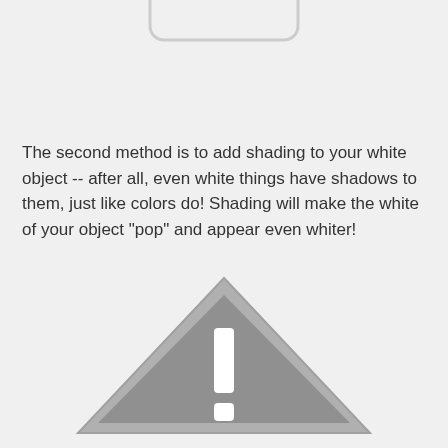[Figure (illustration): Partial view of a rounded rectangle or button shape at the top of the page, cropped]
The second method is to add shading to your white object -- after all, even white things have shadows to them, just like colors do! Shading will make the white of your object "pop" and appear even whiter!
[Figure (illustration): Partial view of a warning/caution triangle icon (gray triangle with white exclamation mark) at the bottom of the page, cropped]